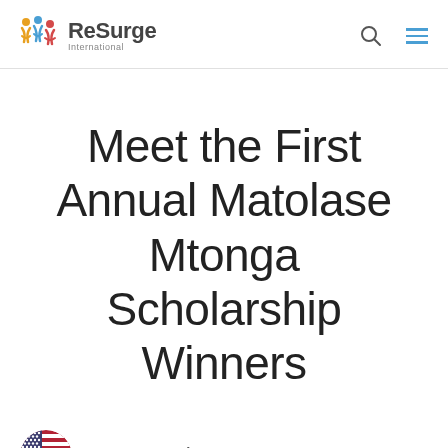ReSurge International
Meet the First Annual Matolase Mtonga Scholarship Winners
USA Headquarters